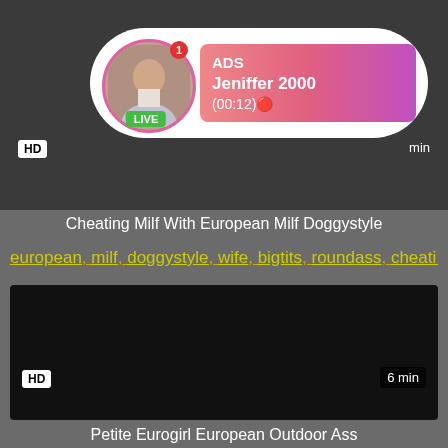[Figure (screenshot): Video thumbnail top - dark background with ADS live stream overlay showing avatar with LIVE badge, pink gradient ad box with text 'ADS Jeniffer 2000 (00:12)', HD badge and min label]
Cheating Milf With European Milf Doggystyle
european, milf, doggystyle, wife, bigtits, roundass, cheati...
[Figure (screenshot): Video thumbnail bottom - black/dark rectangle with HD badge bottom left and '6 min' label bottom right]
Petite Eurogirl European Outdoor Ass